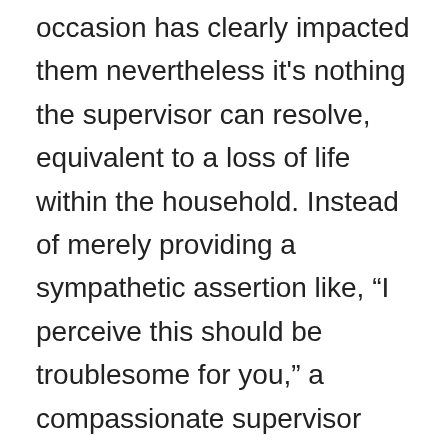occasion has clearly impacted them nevertheless it's nothing the supervisor can resolve, equivalent to a loss of life within the household. Instead of merely providing a sympathetic assertion like, “I perceive this should be troublesome for you,” a compassionate supervisor may change the assertion to a query: “I perceive this should be troublesome for you, I’ve lined your shifts for you immediately, would time without work, or uninterrupted work with out conferences for a bit be useful, or is there one thing extra